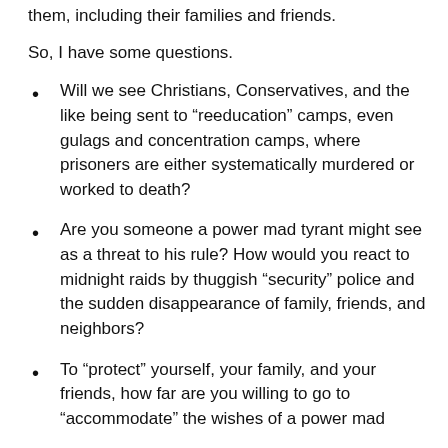them, including their families and friends.
So, I have some questions.
Will we see Christians, Conservatives, and the like being sent to “reeducation” camps, even gulags and concentration camps, where prisoners are either systematically murdered or worked to death?
Are you someone a power mad tyrant might see as a threat to his rule? How would you react to midnight raids by thuggish “security” police and the sudden disappearance of family, friends, and neighbors?
To “protect” yourself, your family, and your friends, how far are you willing to go to “accommodate” the wishes of a power mad